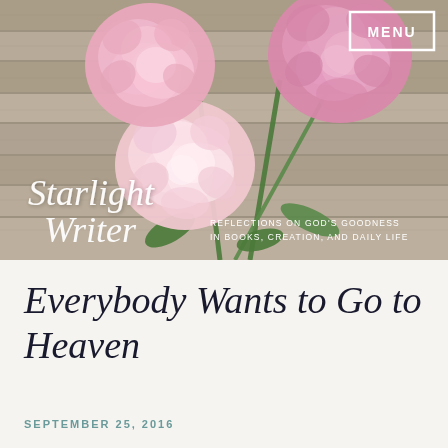[Figure (photo): Blog header image showing pink peony flowers resting on grey wooden planks. Cursive script logo reads 'Starlight Writer' with tagline 'Reflections on God's Goodness in Books, Creation, and Daily Life'. A white-bordered MENU button appears in the top right.]
Everybody Wants to Go to Heaven
SEPTEMBER 25, 2016